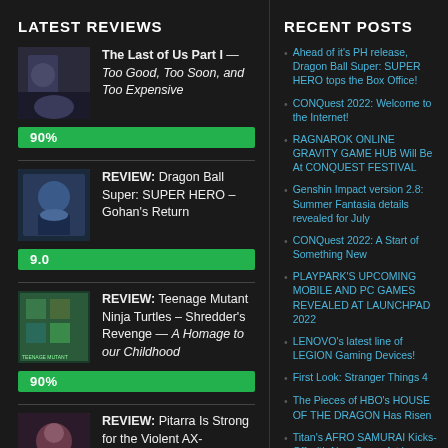LATEST REVIEWS
The Last of Us Part I — Too Good, Too Soon, and Too Expensive | 90%
REVIEW: Dragon Ball Super: SUPER HERO – Gohan's Return | 9.0
REVIEW: Teenage Mutant Ninja Turtles – Shredder's Revenge — A Homage to our Childhood | 90%
REVIEW: Pitarra Is Strong for the Violent AX-WIELDER JON | ★★★★★
RECENT POSTS
Ahead of it's PH release, Dragon Ball Super: SUPER HERO tops the Box Office!
CONQuest 2022: Welcome to the Internet!
RAGNAROK ONLINE GRAVITY GAME HUB Will Be At CONQUEST FESTIVAL
Genshin Impact version 2.8: Summer Fantasia details revealed for July
CONQuest 2022: A Start of Something New
PLAYPARK'S UPCOMING MOBILE AND PC GAMES REVEALED AT LAUNCHPAD 2022
LENOVO's latest line of LEGION Gaming Devices!
First Look: Stranger Things 4
The Pieces of HBO's HOUSE OF THE DRAGON Has Risen
Titan's AFRO SAMURAI Kicks-Off with New Cover Art by TAKASHI OKAZAKI!